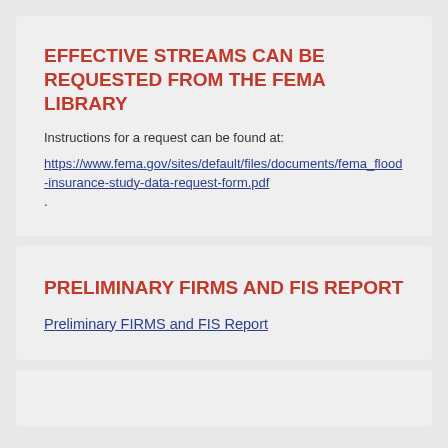EFFECTIVE STREAMS CAN BE REQUESTED FROM THE FEMA LIBRARY
Instructions for a request can be found at:
https://www.fema.gov/sites/default/files/documents/fema_flood-insurance-study-data-request-form.pdf.
PRELIMINARY FIRMS AND FIS REPORT
Preliminary FIRMS and FIS Report